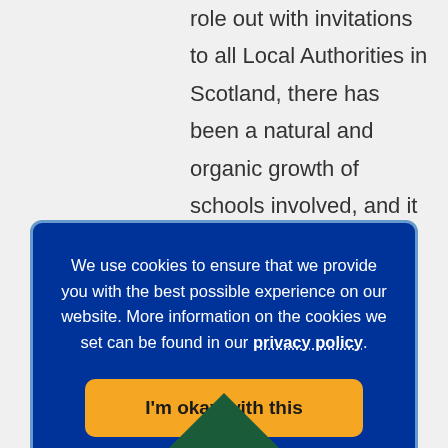role out with invitations to all Local Authorities in Scotland, there has been a natural and organic growth of schools involved, and it has been easier to recruit due to word of mouth. As Action for Children has good links with Local Authorities (Education departments), as
We use cookies to ensure that we provide you with the best possible experience on our website. More information on the cookies we set can be found in our privacy policy.
I'm okay with this